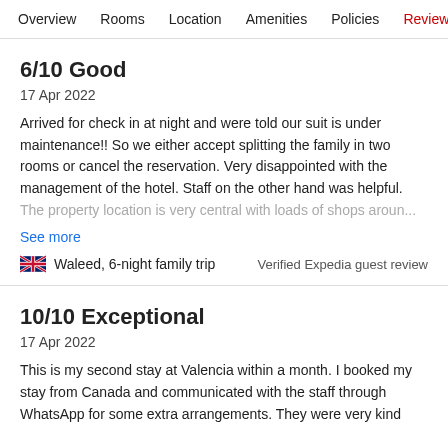Overview | Rooms | Location | Amenities | Policies | Reviews
6/10 Good
17 Apr 2022
Arrived for check in at night and were told our suit is under maintenance!! So we either accept splitting the family in two rooms or cancel the reservation. Very disappointed with the management of the hotel. Staff on the other hand was helpful. The property location is very central with loads of shops aroun...
See more
Waleed, 6-night family trip
Verified Expedia guest review
10/10 Exceptional
17 Apr 2022
This is my second stay at Valencia within a month. I booked my stay from Canada and communicated with the staff through WhatsApp for some extra arrangements. They were very kind